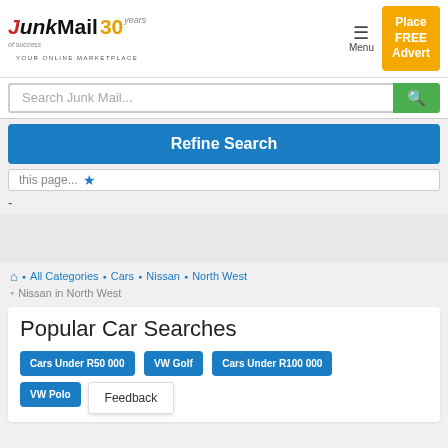[Figure (logo): JunkMail 30 years logo with tagline YOUR ONLINE MARKETPLACE]
[Figure (screenshot): Place FREE Advert orange button]
Search Junk Mail...
Refine Search
this page...
-
All Categories • Cars • Nissan • North West
Nissan in North West
Popular Car Searches
Cars Under R50 000
VW Golf
Cars Under R100 000
VW Polo
Feedback